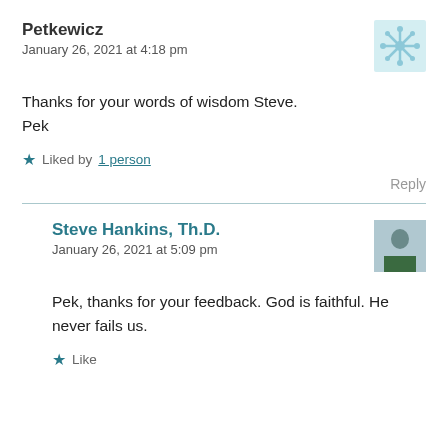Petkewicz
January 26, 2021 at 4:18 pm
Thanks for your words of wisdom Steve.
Pek
Liked by 1 person
Reply
Steve Hankins, Th.D.
January 26, 2021 at 5:09 pm
Pek, thanks for your feedback. God is faithful. He never fails us.
Like